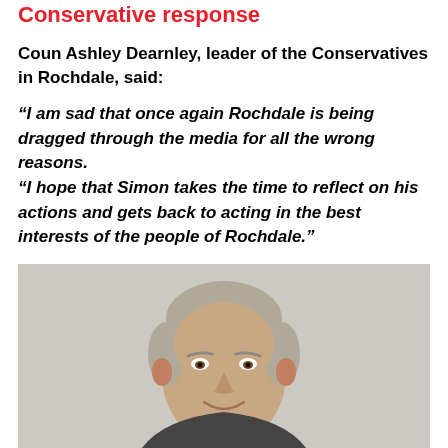Conservative response
Coun Ashley Dearnley, leader of the Conservatives in Rochdale, said:
“I am sad that once again Rochdale is being dragged through the media for all the wrong reasons. “I hope that Simon takes the time to reflect on his actions and gets back to acting in the best interests of the people of Rochdale.”
[Figure (photo): Headshot photograph of a middle-aged man with short grey hair, smiling, against a light grey background]